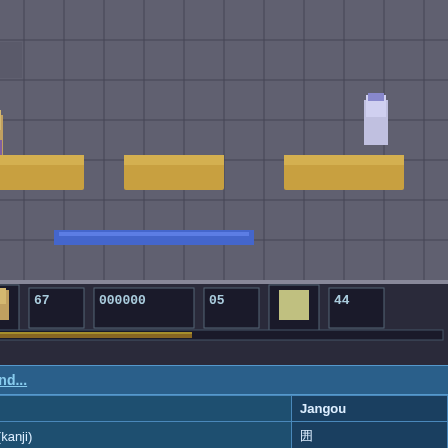[Figure (screenshot): NES/Famicom game screenshot showing dungeon platformer scene with characters and HUD displaying numbers 06, 67, 000000, 05, 44]
Spieleinfos änd...
|  |  |
| --- | --- |
| US Titel | Jangou |
| Japanese title (kanji) | 囲 |
| Erscheinungsjahr | 1990 |
| Publisher/Vertrieb | Victormusica... |
| Spielers | 1 |
| Genre | Logic game |
[Figure (screenshot): Mahjong game screenshot showing green board with white tiles arranged in rows and mahjong tile pieces]